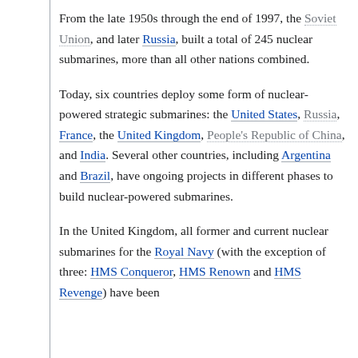From the late 1950s through the end of 1997, the Soviet Union, and later Russia, built a total of 245 nuclear submarines, more than all other nations combined.
Today, six countries deploy some form of nuclear-powered strategic submarines: the United States, Russia, France, the United Kingdom, People's Republic of China, and India. Several other countries, including Argentina and Brazil, have ongoing projects in different phases to build nuclear-powered submarines.
In the United Kingdom, all former and current nuclear submarines for the Royal Navy (with the exception of three: HMS Conqueror, HMS Renown and HMS Revenge) have been